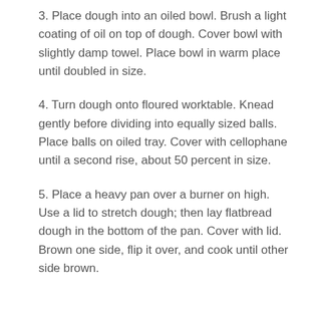3. Place dough into an oiled bowl. Brush a light coating of oil on top of dough. Cover bowl with slightly damp towel. Place bowl in warm place until doubled in size.
4. Turn dough onto floured worktable. Knead gently before dividing into equally sized balls. Place balls on oiled tray. Cover with cellophane until a second rise, about 50 percent in size.
5. Place a heavy pan over a burner on high. Use a lid to stretch dough; then lay flatbread dough in the bottom of the pan. Cover with lid. Brown one side, flip it over, and cook until other side brown.